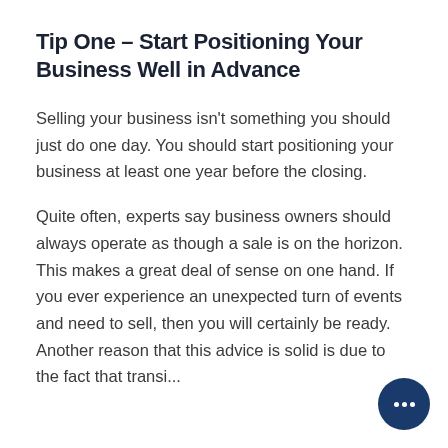Tip One – Start Positioning Your Business Well in Advance
Selling your business isn't something you should just do one day. You should start positioning your business at least one year before the closing.
Quite often, experts say business owners should always operate as though a sale is on the horizon. This makes a great deal of sense on one hand. If you ever experience an unexpected turn of events and need to sell, then you will certainly be ready. Another reason that this advice is solid is due to the fact that...